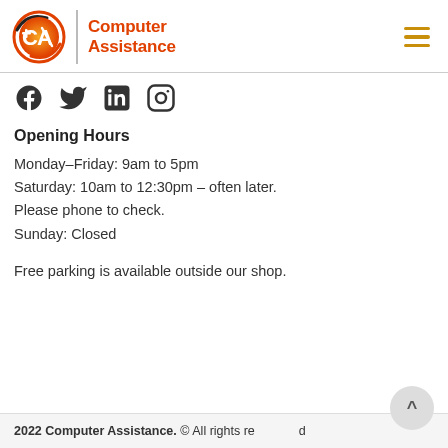Computer Assistance
[Figure (logo): Computer Assistance logo with CA icon and red/orange text]
[Figure (infographic): Social media icons: Facebook, Twitter, LinkedIn, Instagram]
Opening Hours
Monday–Friday: 9am to 5pm
Saturday: 10am to 12:30pm – often later. Please phone to check.
Sunday: Closed
Free parking is available outside our shop.
2022 Computer Assistance. © All rights reserved